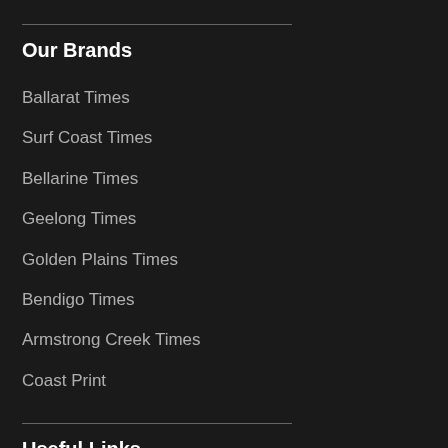Our Brands
Ballarat Times
Surf Coast Times
Bellarine Times
Geelong Times
Golden Plains Times
Bendigo Times
Armstrong Creek Times
Coast Print
Useful Links